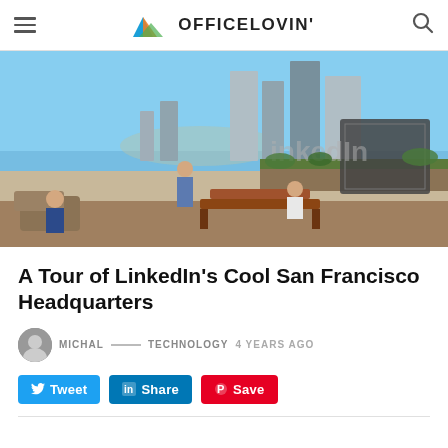OFFICELOVIN'
[Figure (photo): Rooftop terrace of LinkedIn San Francisco headquarters with people sitting on wooden benches, lounge chairs, and a large LinkedIn logo sign against a city skyline backdrop]
A Tour of LinkedIn’s Cool San Francisco Headquarters
MICHAL — TECHNOLOGY 4 YEARS AGO
Tweet  Share  Save